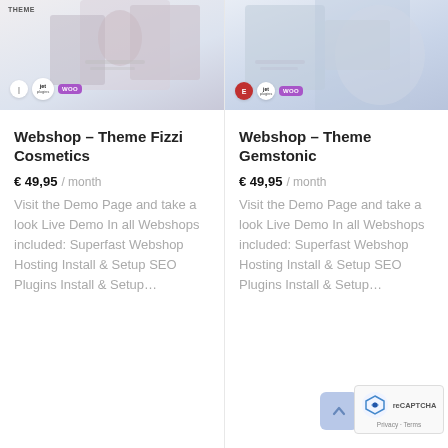[Figure (screenshot): Product card image for Webshop Theme Fizzi Cosmetics showing a cosmetics website mockup with Jet plugins and WooCommerce badges]
Webshop – Theme Fizzi Cosmetics
€ 49,95 / month
Visit the Demo Page and take a look Live Demo In all Webshops included: Superfast Webshop Hosting Install & Setup SEO Plugins Install & Setup...
[Figure (screenshot): Product card image for Webshop Theme Gemstonic showing a jewelry website mockup with Jet plugins and WooCommerce badges]
Webshop – Theme Gemstonic
€ 49,95 / month
Visit the Demo Page and take a look Live Demo In all Webshops included: Superfast Webshop Hosting Install & Setup SEO Plugins Install & Setup...